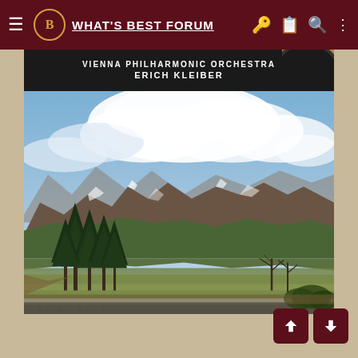What's Best Forum
VIENNA PHILHARMONIC ORCHESTRA
ERICH KLEIBER
[Figure (photo): Album cover photograph showing a scenic Scottish or Alpine mountain landscape with rugged peaks, green hills, pine trees in the foreground, and a dramatic cloudy blue sky. A pastoral valley scene with low stone walls and sparse vegetation.]
[Figure (other): Navigation up and down arrow buttons (dark red/maroon) at the bottom right of the page.]